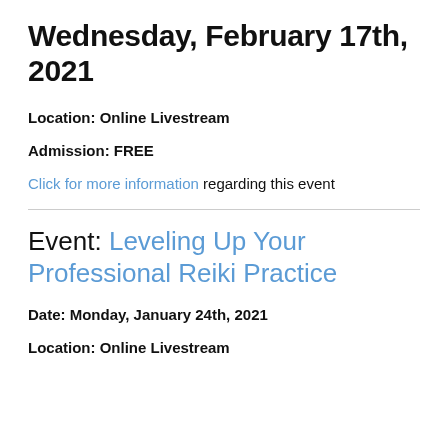Wednesday, February 17th, 2021
Location: Online Livestream
Admission: FREE
Click for more information regarding this event
Event: Leveling Up Your Professional Reiki Practice
Date: Monday, January 24th, 2021
Location: Online Livestream